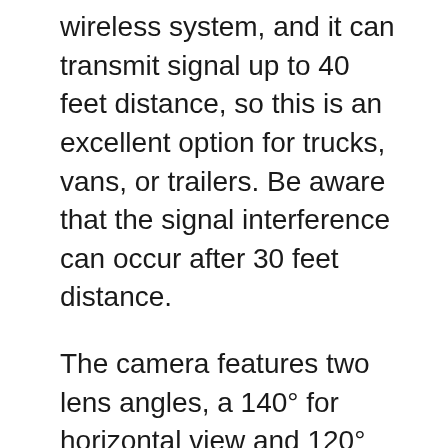wireless system, and it can transmit signal up to 40 feet distance, so this is an excellent option for trucks, vans, or trailers. Be aware that the signal interference can occur after 30 feet distance.
The camera features two lens angles, a 140° for horizontal view and 120° for vertical view providing you with a wide field of vision. This model supports both PAL and NTSC formats. You will love how clear the image is even in the darkest places as a result of 18 infrared sensors.
The device is straightforward to use, and the parking assist gridlines can be removed if needed. Even the remote control is